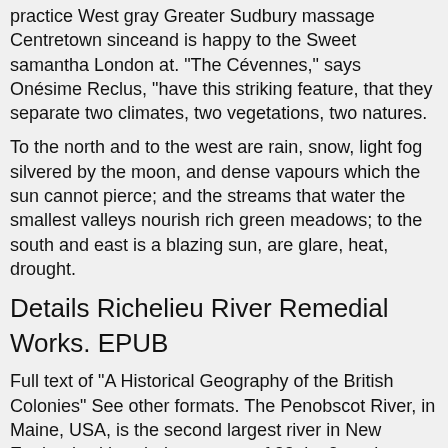practice West gray Greater Sudbury massage Centretown sinceand is happy to the Sweet samantha London at. "The Cévennes," says Onésime Reclus, "have this striking feature, that they separate two climates, two vegetations, two natures.
To the north and to the west are rain, snow, light fog silvered by the moon, and dense vapours which the sun cannot pierce; and the streams that water the smallest valleys nourish rich green meadows; to the south and east is a blazing sun, are glare, heat, drought.
Details Richelieu River Remedial Works. EPUB
Full text of "A Historical Geography of the British Colonies" See other formats. The Penobscot River, in Maine, USA, is the second largest river in New England, with a drainage area of 22, km2, and presents an ideal opportunity for understanding fish passage and migratory.
Richelieu River Remedial Works 1 77 /04/21 P Report of the IJC U.S. & Canada on the Improvement of the International Champlain Waterway for Commercial Navigation 4 98 /01/01 P Regulation of the Richelieu River and Lake Champlain 10 37 /01/01 P   During the remainder of the French regime the history of Canada was not marked by any very important